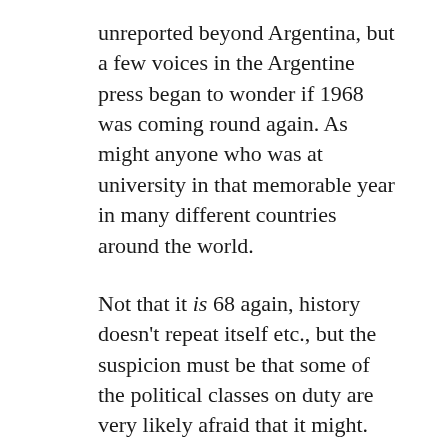unreported beyond Argentina, but a few voices in the Argentine press began to wonder if 1968 was coming round again. As might anyone who was at university in that memorable year in many different countries around the world.
Not that it is 68 again, history doesn’t repeat itself etc., but the suspicion must be that some of the political classes on duty are very likely afraid that it might. Nina Power at Infinite Thought worries ‘that the current student protests simply get compared to 68 and found wanting by those who remember the earlier struggles with nostalgia’. As a 68-er myself, point taken, but it isn’t simply about nostalgia. Commentators like Counterfire’s Faulkner point out that in moments like May 68 in France, the students played the role of catalyst, when the harsh repression of students activists prompted trade unionists to demonstrate in solidarity, until the whole country was paralysed by a general